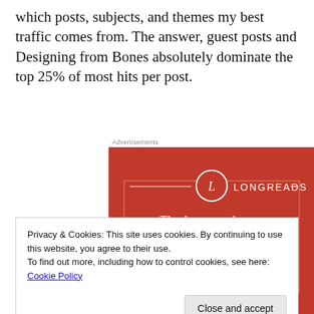which posts, subjects, and themes my best traffic comes from. The answer, guest posts and Designing from Bones absolutely dominate the top 25% of most hits per post.
[Figure (illustration): Longreads advertisement on red background with logo circle 'L', text 'The best stories on the web – ours, and everyone else's.' and a dark 'Start reading' button]
Privacy & Cookies: This site uses cookies. By continuing to use this website, you agree to their use.
To find out more, including how to control cookies, see here: Cookie Policy
Close and accept